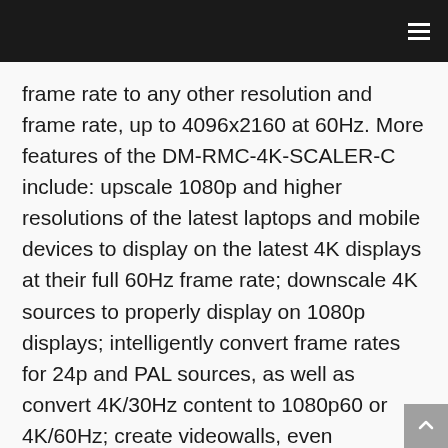frame rate to any other resolution and frame rate, up to 4096x2160 at 60Hz. More features of the DM-RMC-4K-SCALER-C include: upscale 1080p and higher resolutions of the latest laptops and mobile devices to display on the latest 4K displays at their full 60Hz frame rate; downscale 4K sources to properly display on 1080p displays; intelligently convert frame rates for 24p and PAL sources, as well as convert 4K/30Hz content to 1080p60 or 4K/60Hz; create videowalls, even spreading a 4K source across 1080p displays while maintaining full